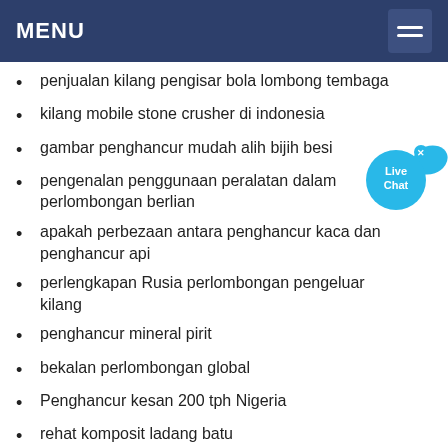MENU
penjualan kilang pengisar bola lombong tembaga
kilang mobile stone crusher di indonesia
gambar penghancur mudah alih bijih besi
pengenalan penggunaan peralatan dalam perlombongan berlian
apakah perbezaan antara penghancur kaca dan penghancur api
perlengkapan Rusia perlombongan pengeluar kilang
penghancur mineral pirit
bekalan perlombongan global
Penghancur kesan 200 tph Nigeria
rehat komposit ladang batu
autocad batu sewa
430 tph Penghancur lombong Benin
kuari batu kapur di gujarat
Pelan Kilang Penggiling Roller